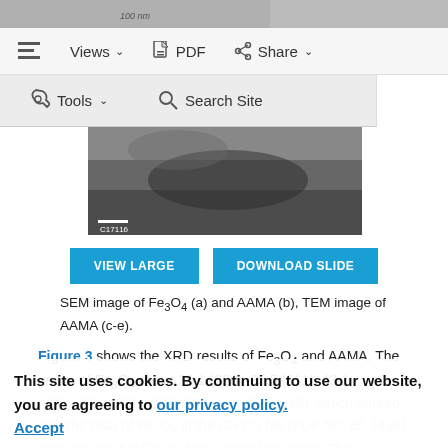[Figure (screenshot): Website navigation bar with Views, PDF, Share icons and dropdown arrows, and a Tools/Search Site sub-bar below]
[Figure (photo): SEM/TEM microscopy image showing dark grainy nanoparticle texture (part of AAMA figure), with scale bar]
[Figure (screenshot): Two blue buttons: VIEW LARGE and DOWNLOAD SLIDE]
SEM image of Fe3O4 (a) and AAMA (b), TEM image of AAMA (c-e).
Figure 3 shows the XRD results of Fe3O4 and AAMA. The peaks of Fe3O4 are at 30.1 (220), 35.5 (311), 43.1 (400), 53.4 (422), 57.0 (511) and 62.6 (440), which agreed with the data of Fe3O4 in the ICPDS file (PDF No. 85-1436). This proved that Fe3O4 has a spinel structure. The characteristic peaks of AAMA are
This site uses cookies. By continuing to use our website, you are agreeing to our privacy policy. Accept